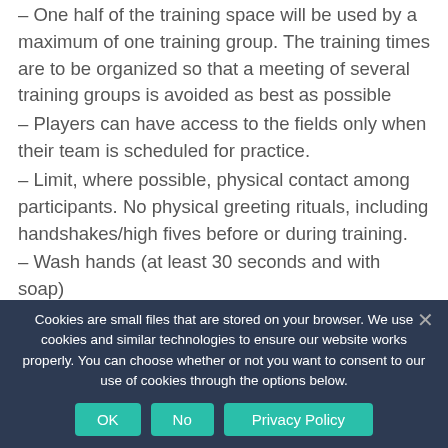– One half of the training space will be used by a maximum of one training group. The training times are to be organized so that a meeting of several training groups is avoided as best as possible
– Players can have access to the fields only when their team is scheduled for practice.
– Limit, where possible, physical contact among participants. No physical greeting rituals, including handshakes/high fives before or during training.
– Wash hands (at least 30 seconds and with soap)
Cookies are small files that are stored on your browser. We use cookies and similar technologies to ensure our website works properly. You can choose whether or not you want to consent to our use of cookies through the options below.
OK
No
Privacy Policy